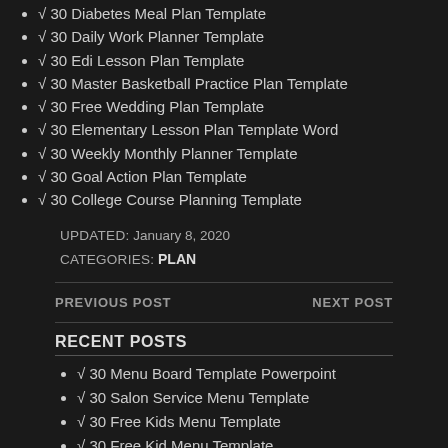√ 30 Diabetes Meal Plan Template
√ 30 Daily Work Planner Template
√ 30 Edi Lesson Plan Template
√ 30 Master Basketball Practice Plan Template
√ 30 Free Wedding Plan Template
√ 30 Elementary Lesson Plan Template Word
√ 30 Weekly Monthly Planner Template
√ 30 Goal Action Plan Template
√ 30 College Course Planning Template
UPDATED: January 8, 2020
CATEGORIES: PLAN
PREVIOUS POST
NEXT POST
RECENT POSTS
√ 30 Menu Board Template Powerpoint
√ 30 Salon Service Menu Template
√ 30 Free Kids Menu Template
√ 30 Free Kid Menu Template